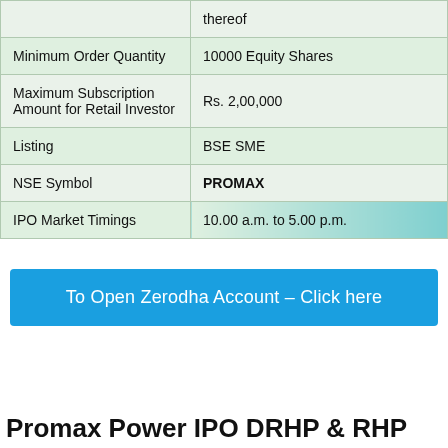| Field | Value |
| --- | --- |
|  | thereof |
| Minimum Order Quantity | 10000 Equity Shares |
| Maximum Subscription Amount for Retail Investor | Rs. 2,00,000 |
| Listing | BSE SME |
| NSE Symbol | PROMAX |
| IPO Market Timings | 10.00 a.m. to 5.00 p.m. |
To Open Zerodha Account – Click here
Promax Power IPO DRHP & RHP